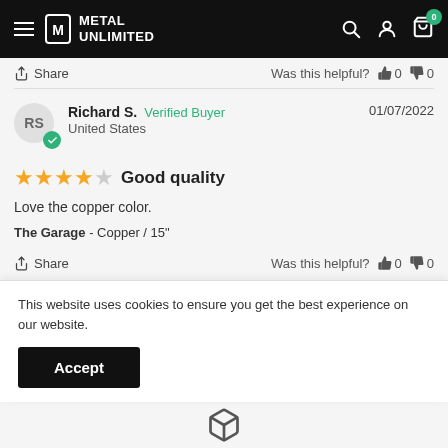Metal Unlimited
Share   Was this helpful?  0  0
Richard S.  Verified Buyer   01/07/2022
United States
★★★★☆  Good quality
Love the copper color.
The Garage - Copper / 15"
Share   Was this helpful?  0  0
This website uses cookies to ensure you get the best experience on our website.